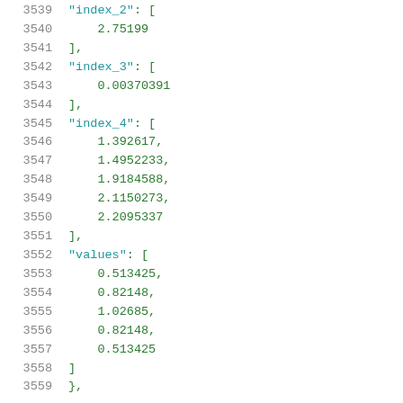3539    "index_2": [
3540        2.75199
3541    ],
3542    "index_3": [
3543        0.00370391
3544    ],
3545    "index_4": [
3546        1.392617,
3547        1.4952233,
3548        1.9184588,
3549        2.1150273,
3550        2.2095337
3551    ],
3552    "values": [
3553        0.513425,
3554        0.82148,
3555        1.02685,
3556        0.82148,
3557        0.513425
3558    ]
3559    },